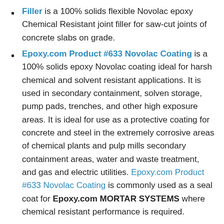Filler is a 100% solids flexible Novolac epoxy Chemical Resistant joint filler for saw-cut joints of concrete slabs on grade.
Epoxy.com Product #633 Novolac Coating is a 100% solids epoxy Novolac coating ideal for harsh chemical and solvent resistant applications. It is used in secondary containment, solven storage, pump pads, trenches, and other high exposure areas. It is ideal for use as a protective coating for concrete and steel in the extremely corrosive areas of chemical plants and pulp mills secondary containment areas, water and waste treatment, and gas and electric utilities. Epoxy.com Product #633 Novolac Coating is commonly used as a seal coat for Epoxy.com MORTAR SYSTEMS where chemical resistant performance is required.